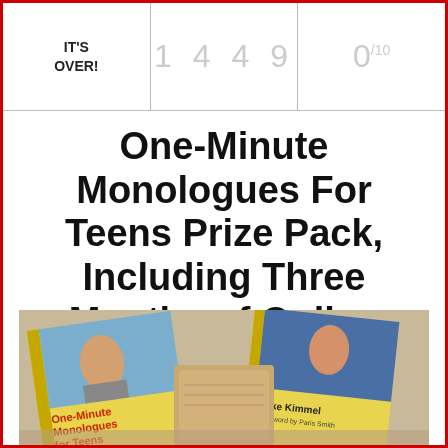| IT'S OVER! | 1 4 4 9 | 0/10 |
| --- | --- | --- |
One-Minute Monologues For Teens Prize Pack, Including Three Months of Online Acting Classes
[Figure (photo): Photo of One-Minute Monologues for Teens book by Mike Kimmel, Foreword by Paris Smith, with yellow cover showing a teen girl, alongside other copies of the book and a notebook on a wooden surface.]